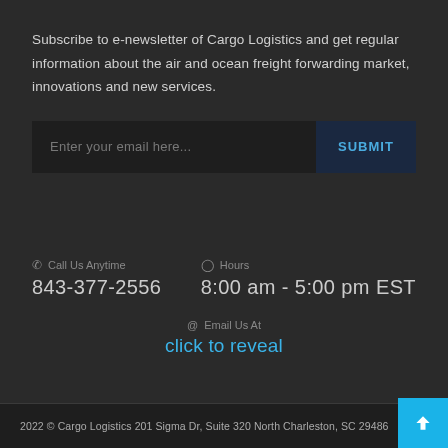Subscribe to e-newsletter of Cargo Logistics and get regular information about the air and ocean freight forwarding market, innovations and new services.
Enter your email here...  SUBMIT
Call Us Anytime
843-377-2556
Hours
8:00 am - 5:00 pm EST
Email Us At
click to reveal
2022 © Cargo Logistics 201 Sigma Dr, Suite 320 North Charleston, SC 29486